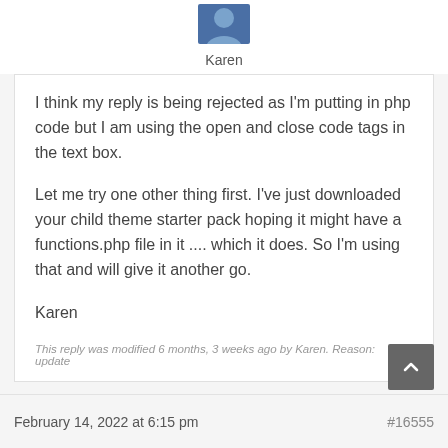[Figure (photo): User avatar photo of Karen, a person in a blue outfit]
Karen
I think my reply is being rejected as I'm putting in php code but I am using the open and close code tags in the text box.

Let me try one other thing first. I've just downloaded your child theme starter pack hoping it might have a functions.php file in it .... which it does. So I'm using that and will give it another go.

Karen
This reply was modified 6 months, 3 weeks ago by Karen. Reason: update
February 14, 2022 at 6:15 pm
#16555